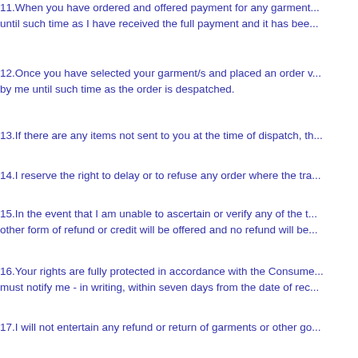11.When you have ordered and offered payment for any garment until such time as I have received the full payment and it has bee...
12.Once you have selected your garment/s and placed an order v... by me until such time as the order is despatched.
13.If there are any items not sent to you at the time of dispatch, th...
14.I reserve the right to delay or to refuse any order where the tra...
15.In the event that I am unable to ascertain or verify any of the t... other form of refund or credit will be offered and no refund will be...
16.Your rights are fully protected in accordance with the Consume... must notify me - in writing, within seven days from the date of rec...
17.I will not entertain any refund or return of garments or other go... a particular way and that is the sole reason for your returning the... or defects.
18.The complete garment must be returned before any considera...
19.The cost for the postage and packing of any returned garment...